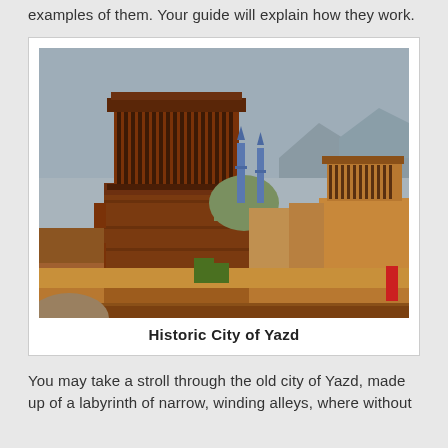examples of them. Your guide will explain how they work.
[Figure (photo): Photograph of the Historic City of Yazd showing traditional wind towers (badgirs) with a mosque dome and minarets visible in the background against a hazy sky.]
Historic City of Yazd
You may take a stroll through the old city of Yazd, made up of a labyrinth of narrow, winding alleys, where without